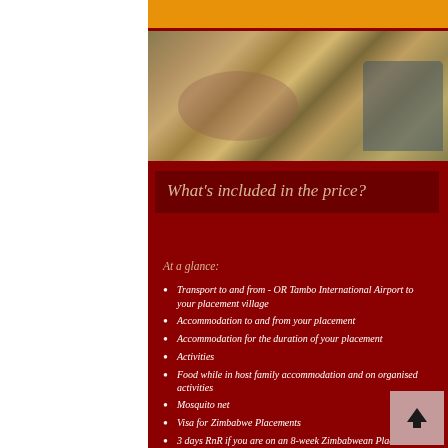[Figure (photo): A person kneeling on the ground working on a colourful decorated floor or rug in an outdoor village setting]
What's included in the price?
At a glance:
Transport to and from - OR Tambo International Airport to your placement village
Accommodation to and from your placement
Accommodation for the duration of your placement
Activities
Food while in host family accommodation and on organised activities
Mosquito net
Visa for Zimbabwe Placements
3 days RnR if you are on an 8-week Zimbabwean Placement